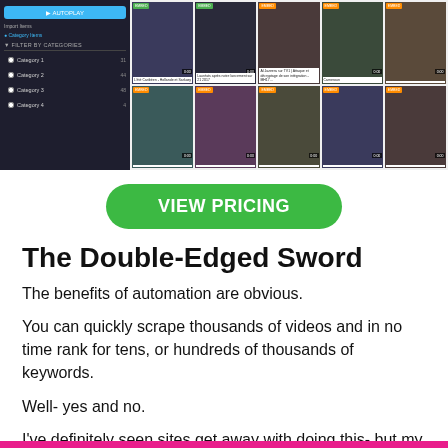[Figure (screenshot): Screenshot of a video platform interface showing a sidebar with filter categories and a grid of video thumbnails]
VIEW PRICING
The Double-Edged Sword
The benefits of automation are obvious.
You can quickly scrape thousands of videos and in no time rank for tens, or hundreds of thousands of keywords.
Well- yes and no.
I've definitely seen sites get away with doing this- but my feeling is that they are the exception that proves the rule.